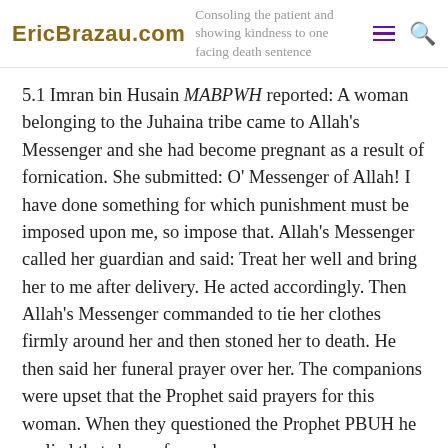EricBrazau.com — Consoling the patient and showing kindness to one facing death sentence
5.1 Imran bin Husain MABPWH reported: A woman belonging to the Juhaina tribe came to Allah's Messenger and she had become pregnant as a result of fornication. She submitted: O' Messenger of Allah! I have done something for which punishment must be imposed upon me, so impose that. Allah's Messenger called her guardian and said: Treat her well and bring her to me after delivery. He acted accordingly. Then Allah's Messenger commanded to tie her clothes firmly around her and then stoned her to death. He then said her funeral prayer over her. The companions were upset that the Prophet said prayers for this woman. When they questioned the Prophet PBUH he replied that she performed...